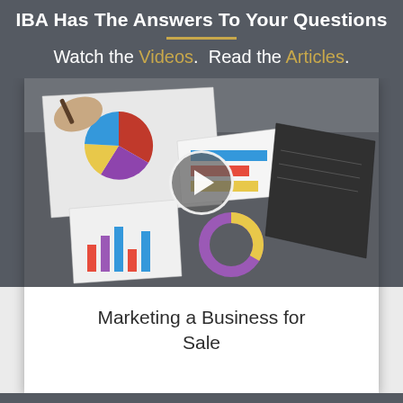IBA Has The Answers To Your Questions
Watch the Videos.  Read the Articles.
[Figure (photo): Video thumbnail showing business charts and documents on a desk with hands holding pens, with a circular play button overlay in the center]
Marketing a Business for Sale